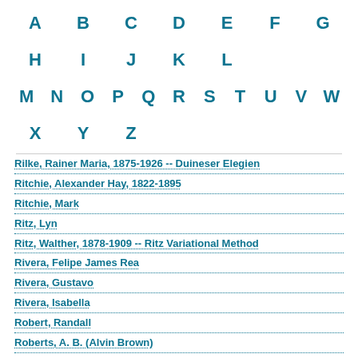A B C D E F G H I J K L M N O P Q R S T U V W X Y Z
Rilke, Rainer Maria, 1875-1926 -- Duineser Elegien
Ritchie, Alexander Hay, 1822-1895
Ritchie, Mark
Ritz, Lyn
Ritz, Walther, 1878-1909 -- Ritz Variational Method
Rivera, Felipe James Rea
Rivera, Gustavo
Rivera, Isabella
Robert, Randall
Roberts, A. B. (Alvin Brown)
Roberts, Katrina
Roberts, Lee W.
Robertson, James, 1958- -- Testament Of Gideon